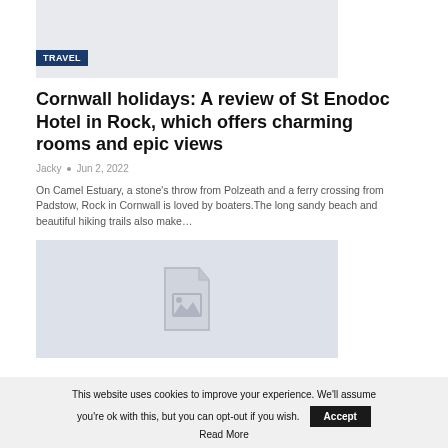[Figure (photo): Top image placeholder with light gray background and TRAVEL badge]
Cornwall holidays: A review of St Enodoc Hotel in Rock, which offers charming rooms and epic views
Jacky • Jun 2, 2022
On Camel Estuary, a stone's throw from Polzeath and a ferry crossing from Padstow, Rock in Cornwall is loved by boaters.The long sandy beach and beautiful hiking trails also make…
[Figure (photo): Second image placeholder with light blue-gray background and document/image icon]
This website uses cookies to improve your experience. We'll assume you're ok with this, but you can opt-out if you wish. Accept
Read More